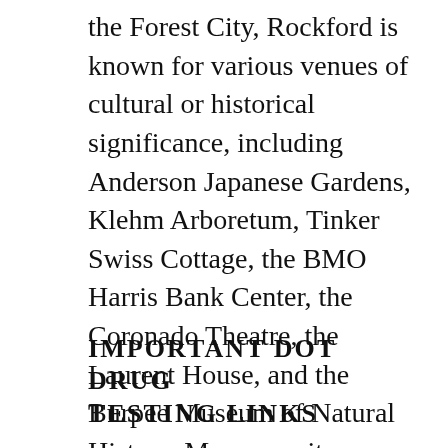the Forest City, Rockford is known for various venues of cultural or historical significance, including Anderson Japanese Gardens, Klehm Arboretum, Tinker Swiss Cottage, the BMO Harris Bank Center, the Coronado Theatre, the Laurent House, and the Burpee Museum of Natural History. Moreover, its contributions to music are noted in the Mendelssohn Club, the oldest music club in the nation, and performers such as Phantom Regiment and Cheap Trick.
IMPORTANT DOT DRUG TESTING LINKS